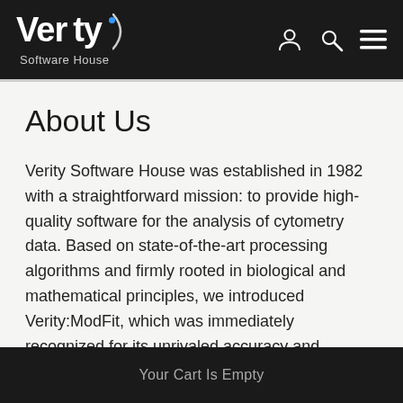Verity Software House — navigation bar with logo and icons
About Us
Verity Software House was established in 1982 with a straightforward mission: to provide high-quality software for the analysis of cytometry data. Based on state-of-the-art processing algorithms and firmly rooted in biological and mathematical principles, we introduced Verity:ModFit, which was immediately recognized for its unrivaled accuracy and flexibility. Today, we continue to develop
Your Cart Is Empty